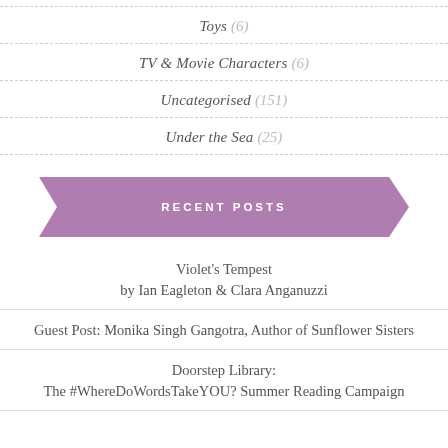Toys (6)
TV & Movie Characters (6)
Uncategorised (151)
Under the Sea (25)
RECENT POSTS
Violet's Tempest by Ian Eagleton & Clara Anganuzzi
Guest Post: Monika Singh Gangotra, Author of Sunflower Sisters
Doorstep Library: The #WhereDoWordsTakeYOU? Summer Reading Campaign